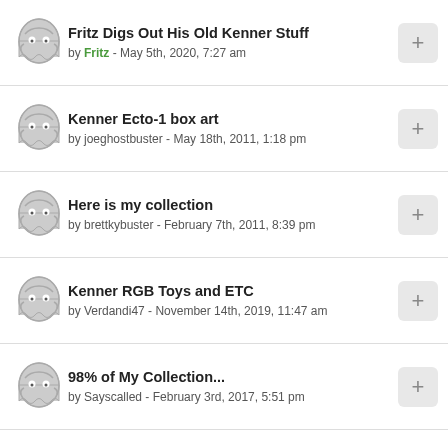Fritz Digs Out His Old Kenner Stuff by Fritz - May 5th, 2020, 7:27 am
Kenner Ecto-1 box art by joeghostbuster - May 18th, 2011, 1:18 pm
Here is my collection by brettkybuster - February 7th, 2011, 8:39 pm
Kenner RGB Toys and ETC by Verdandi47 - November 14th, 2019, 11:47 am
98% of My Collection... by Sayscalled - February 3rd, 2017, 5:51 pm
My GB II memorabilia collection by JA Slow - April 20th, 2014, 6:17 am